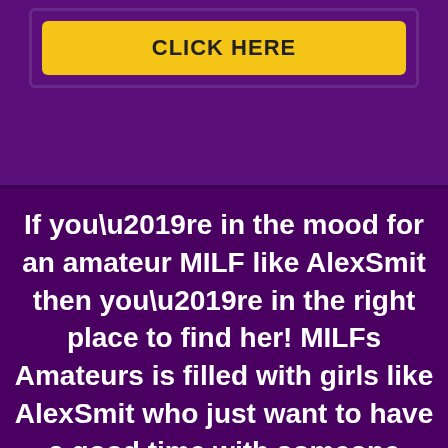[Figure (other): Yellow call-to-action button with bold text 'CLICK HERE' on a purple background with border]
If you’re in the mood for an amateur MILF like AlexSmit then you’re in the right place to find her! MILFs Amateurs is filled with girls like AlexSmit who just want to have a good time with someone while they’re online and horny. Spend some time with AlexSmit or her